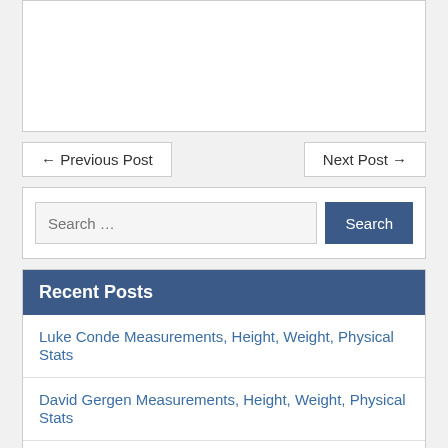[Figure (other): Empty white comment/text area box]
← Previous Post
Next Post →
Search …
Luke Conde Measurements, Height, Weight, Physical Stats
David Gergen Measurements, Height, Weight, Physical Stats
Kilo Ali Measurements, Height, Weight, Physical Stats
Emmy Rossum Measurements, Height, Weight, Physical Stats
Clancy Burke Measurements, Height, Weight, Physical Stats